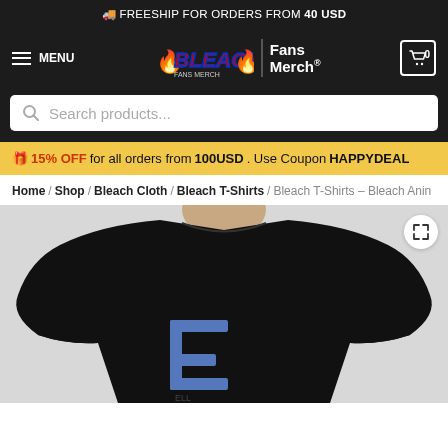🚚 FREESHIP FOR ORDERS FROM 40 USD
[Figure (logo): Bleach Fans Merch logo with BLEACH stylized text and flames, plus hamburger menu and cart icon with 0]
[Figure (screenshot): Search bar with magnifying glass icon and placeholder text 'Search products...']
🎁 15% OFF for all orders from 100USD. Use Coupon HAPPYDEAL
Home / Shop / Bleach Cloth / Bleach T-Shirts / Bleach T-Shirts – Bleach Anin
[Figure (photo): Man wearing a black t-shirt with a large blue letter E graphic on the front, cropped view showing neck and torso]